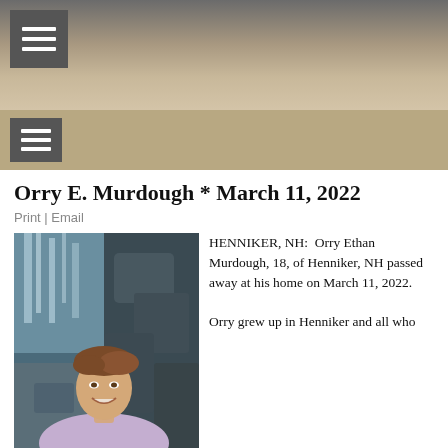Orry E. Murdough * March 11, 2022
Print | Email
[Figure (photo): Young man smiling in front of a waterfall and rocky background, wearing a light purple shirt]
HENNIKER, NH:  Orry Ethan Murdough, 18, of Henniker, NH passed away at his home on March 11, 2022.

Orry grew up in Henniker and all who